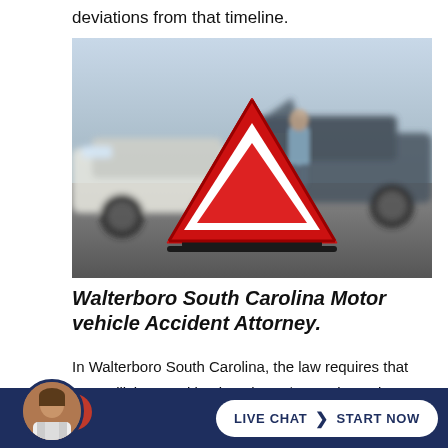deviations from that timeline.
[Figure (photo): Photo of a car accident scene with a red warning triangle in the foreground and two vehicles collided in the background, with a person standing nearby.]
Walterboro South Carolina Motor vehicle Accident Attorney.
In Walterboro South Carolina, the law requires that any collision resulting in at least $1,000 in total property damage, or results in injury, or death